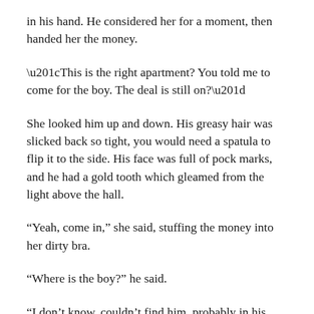in his hand. He considered her for a moment, then handed her the money.
“This is the right apartment? You told me to come for the boy. The deal is still on?”
She looked him up and down. His greasy hair was slicked back so tight, you would need a spatula to flip it to the side. His face was full of pock marks, and he had a gold tooth which gleamed from the light above the hall.
“Yeah, come in,” she said, stuffing the money into her dirty bra.
“Where is the boy?” he said.
“I don’t know, couldn’t find him, probably in his